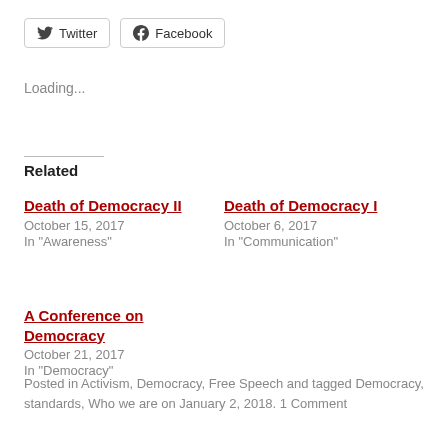[Figure (other): Twitter and Facebook social share buttons with icons]
Loading...
Related
Death of Democracy II
October 15, 2017
In "Awareness"
Death of Democracy I
October 6, 2017
In "Communication"
A Conference on Democracy
October 21, 2017
In "Democracy"
Posted in Activism, Democracy, Free Speech and tagged Democracy, standards, Who we are on January 2, 2018. 1 Comment